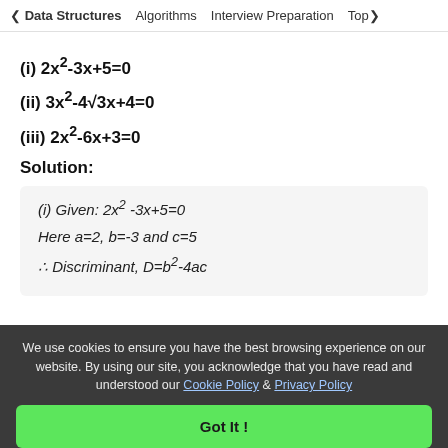< Data Structures   Algorithms   Interview Preparation   Top>
(i) 2x²-3x+5=0
(ii) 3x²-4√3x+4=0
(iii) 2x²-6x+3=0
Solution:
(i) Given: 2x² -3x+5=0
Here a=2, b=-3 and c=5
∴ Discriminant, D=b²-4ac
We use cookies to ensure you have the best browsing experience on our website. By using our site, you acknowledge that you have read and understood our Cookie Policy & Privacy Policy
Got It !